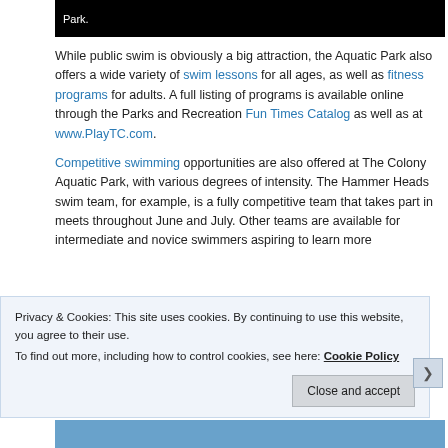[Figure (photo): Black image bar with text 'Park.' visible at top of page]
While public swim is obviously a big attraction, the Aquatic Park also offers a wide variety of swim lessons for all ages, as well as fitness programs for adults. A full listing of programs is available online through the Parks and Recreation Fun Times Catalog as well as at www.PlayTC.com.
Competitive swimming opportunities are also offered at The Colony Aquatic Park, with various degrees of intensity. The Hammer Heads swim team, for example, is a fully competitive team that takes part in meets throughout June and July. Other teams are available for intermediate and novice swimmers aspiring to learn more
Privacy & Cookies: This site uses cookies. By continuing to use this website, you agree to their use.
To find out more, including how to control cookies, see here: Cookie Policy
Close and accept